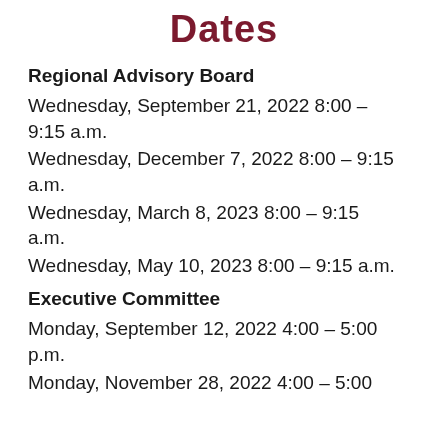Dates
Regional Advisory Board
Wednesday, September 21, 2022 8:00 – 9:15 a.m.
Wednesday, December 7, 2022 8:00 – 9:15 a.m.
Wednesday, March 8, 2023 8:00 – 9:15 a.m.
Wednesday, May 10, 2023 8:00 – 9:15 a.m.
Executive Committee
Monday, September 12, 2022 4:00 – 5:00 p.m.
Monday, November 28, 2022 4:00 – 5:00